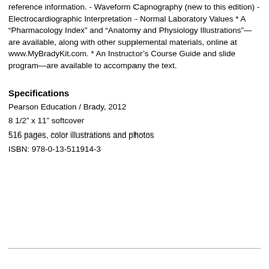reference information. - Waveform Capnography (new to this edition) - Electrocardiographic Interpretation - Normal Laboratory Values * A “Pharmacology Index” and “Anatomy and Physiology Illustrations”—are available, along with other supplemental materials, online at www.MyBradyKit.com. * An Instructor’s Course Guide and slide program—are available to accompany the text.
Specifications
Pearson Education / Brady, 2012
8 1/2" x 11" softcover
516 pages, color illustrations and photos
ISBN: 978-0-13-511914-3